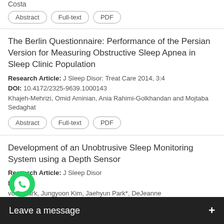Costa
Abstract | Full-text | PDF
The Berlin Questionnaire: Performance of the Persian Version for Measuring Obstructive Sleep Apnea in Sleep Clinic Population
Research Article: J Sleep Disor: Treat Care 2014, 3:4
DOI: 10.4172/2325-9639.1000143
Khajeh-Mehrizi, Omid Aminian, Ania Rahimi-Golkhandan and Mojtaba Sedaghat
Abstract | Full-text | PDF
Development of an Unobtrusive Sleep Monitoring System using a Depth Sensor
Research Article: J Sleep Disor
DOI:
voon Park, Jungyoon Kim, Jaehyun Park*, DeJeanne Celeste Branstrom
[Figure (screenshot): WhatsApp overlay with green phone icon and 'Leave a message +' black bar at bottom of screen]